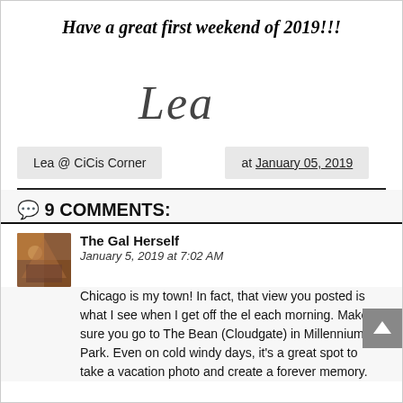Have a great first weekend of 2019!!!
[Figure (illustration): Cursive signature reading 'Lea' in elegant script font]
Lea @ CiCis Corner at January 05, 2019
💬 9 COMMENTS:
The Gal Herself
January 5, 2019 at 7:02 AM
Chicago is my town! In fact, that view you posted is what I see when I get off the el each morning. Make sure you go to The Bean (Cloudgate) in Millennium Park. Even on cold windy days, it's a great spot to take a vacation photo and create a forever memory.